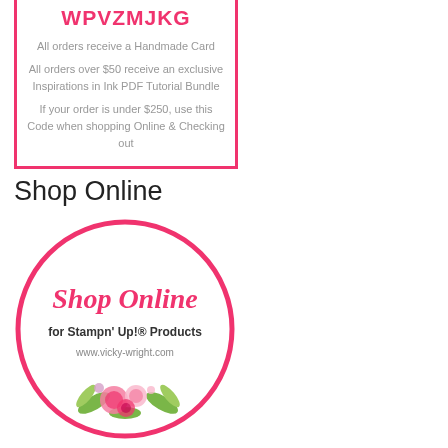WPVZMJKG
All orders receive a Handmade Card
All orders over $50 receive an exclusive Inspirations in Ink PDF Tutorial Bundle
If your order is under $250, use this Code when shopping Online & Checking out
Shop Online
[Figure (logo): Circle logo with pink script 'Shop Online', text 'for Stampn' Up!® Products', website 'www.vicky-wright.com', and floral watercolor illustration at bottom, surrounded by a pink circle border]